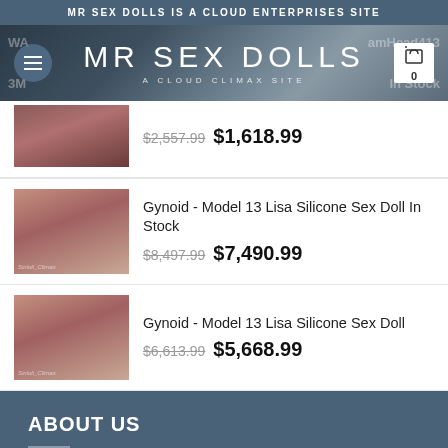MR SEX DOLLS IS A CLOUD ENTERPRISES SITE
[Figure (screenshot): MR SEX DOLLS website hero banner with logo, menu button, and cart icon on dark background]
$2,557.99  $1,618.99
Gynoid - Model 13 Lisa Silicone Sex Doll In Stock  $8,497.99  $7,490.99
Gynoid - Model 13 Lisa Silicone Sex Doll  $6,613.99  $5,668.99
ABOUT US